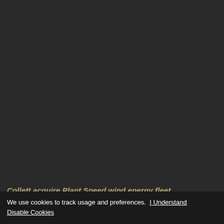Collett acquire Plant Speed wind energy fleet
We use cookies to track usage and preferences.  I Understand  Disable Cookies